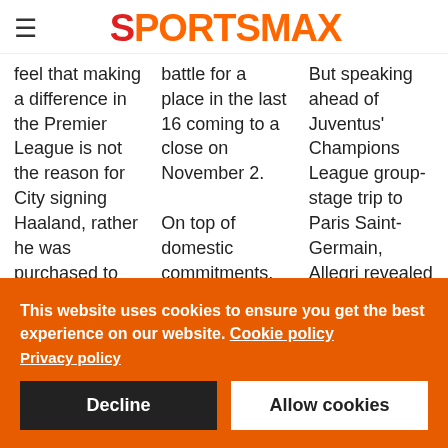SPORTSMAX
feel that making a difference in the Premier League is not the reason for City signing Haaland, rather he was purchased to be decisive when the margins are
battle for a place in the last 16 coming to a close on November 2.

On top of domestic commitments, that makes for a
But speaking ahead of Juventus' Champions League group-stage trip to Paris Saint-Germain, Allegri revealed the 29-year-old will now go under the knife
This website uses cookies to ensure you get the best experience on our website. Cookie policy
Privacy policy